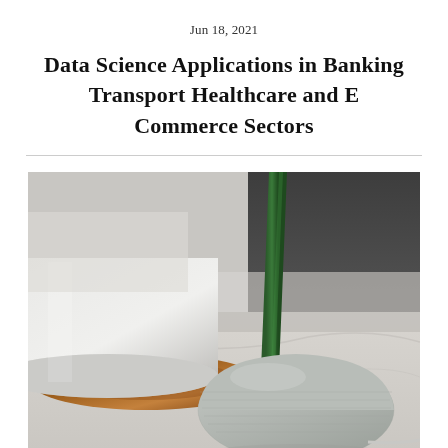Jun 18, 2021
Data Science Applications in Banking Transport Healthcare and E Commerce Sectors
[Figure (photo): Close-up photo on a marble surface showing a Google Home Mini smart speaker (light grey, puck-shaped with fabric texture) next to a white ceramic cup on a wooden/copper saucer, with a tall dark green plant stem in the background and a dark grey wall behind.]